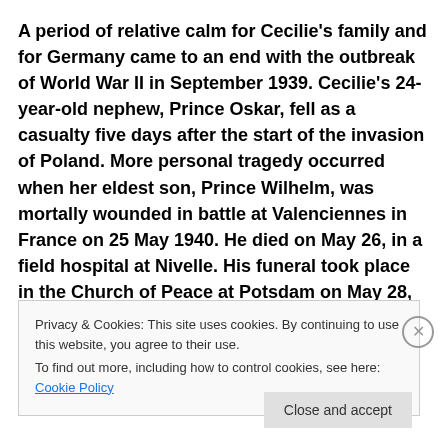A period of relative calm for Cecilie's family and for Germany came to an end with the outbreak of World War II in September 1939. Cecilie's 24-year-old nephew, Prince Oskar, fell as a casualty five days after the start of the invasion of Poland. More personal tragedy occurred when her eldest son, Prince Wilhelm, was mortally wounded in battle at Valenciennes in France on 25 May 1940. He died on May 26, in a field hospital at Nivelle. His funeral took place in the Church of Peace at Potsdam on May 28,
Privacy & Cookies: This site uses cookies. By continuing to use this website, you agree to their use. To find out more, including how to control cookies, see here: Cookie Policy
Close and accept